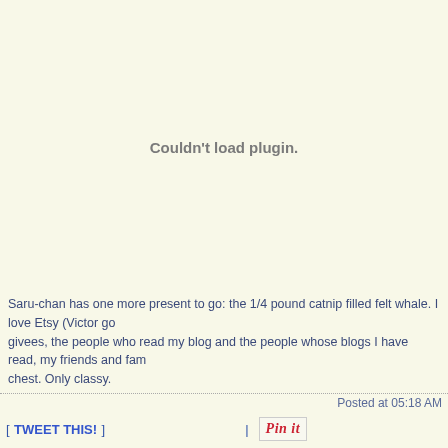[Figure (other): Plugin placeholder area with 'Couldn't load plugin.' message]
Saru-chan has one more present to go: the 1/4 pound catnip filled felt whale. I love Etsy (Victor go givees, the people who read my blog and the people whose blogs I have read, my friends and fam chest. Only classy.
Posted at 05:18 AM
[ TWEET THIS! ]
[Figure (other): Pin it button]